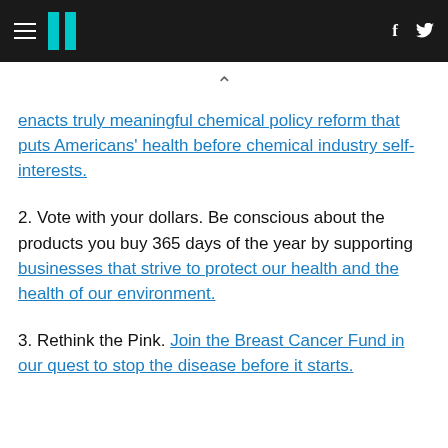HuffPost navigation header with hamburger menu, logo, Facebook and Twitter icons
enacts truly meaningful chemical policy reform that puts Americans' health before chemical industry self-interests.
2. Vote with your dollars. Be conscious about the products you buy 365 days of the year by supporting businesses that strive to protect our health and the health of our environment.
3. Rethink the Pink. Join the Breast Cancer Fund in our quest to stop the disease before it starts.